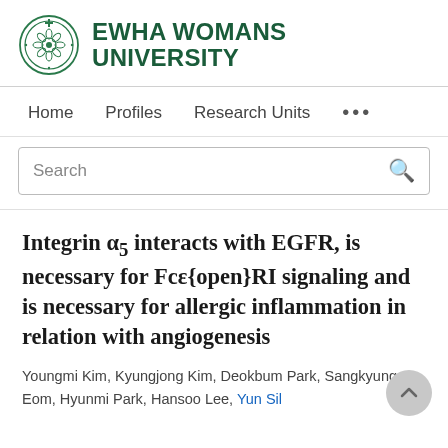EWHA WOMANS UNIVERSITY
Home   Profiles   Research Units   ...
Search
Integrin α₅ interacts with EGFR, is necessary for Fcε{open}RI signaling and is necessary for allergic inflammation in relation with angiogenesis
Youngmi Kim, Kyungjong Kim, Deokbum Park, Sangkyung Eom, Hyunmi Park, Hansoo Lee, Yun Sil